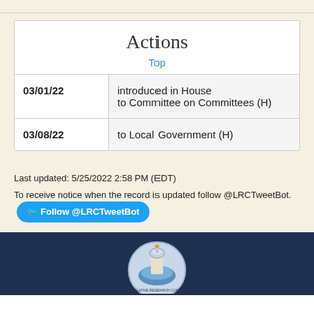Actions
Top
| Date | Action |
| --- | --- |
| 03/01/22 | introduced in House
to Committee on Committees (H) |
| 03/08/22 | to Local Government (H) |
Last updated: 5/25/2022 2:58 PM (EDT)
To receive notice when the record is updated follow @LRCTweetBot.
[Figure (logo): Legislative Research Commission seal/logo on dark navy footer background]